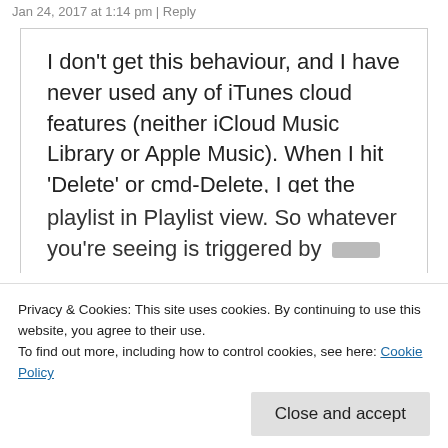Jan 24, 2017 at 1:14 pm | Reply
I don’t get this behaviour, and I have never used any of iTunes cloud features (neither iCloud Music Library or Apple Music). When I hit ‘Delete’ or cmd-Delete, I get the following (correct) dialogue:

“Are you sure you want to remove the
Privacy & Cookies: This site uses cookies. By continuing to use this website, you agree to their use.
To find out more, including how to control cookies, see here: Cookie Policy
Close and accept
playlist in Playlist view. So whatever you’re seeing is triggered by